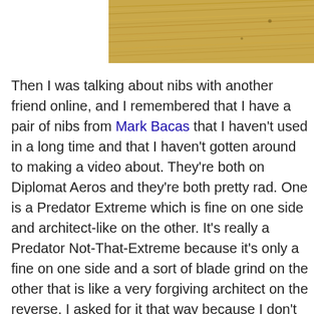[Figure (photo): Close-up photo of wood grain texture with diagonal lines, warm golden-brown tones]
Then I was talking about nibs with another friend online, and I remembered that I have a pair of nibs from Mark Bacas that I haven't used in a long time and that I haven't gotten around to making a video about. They're both on Diplomat Aeros and they're both pretty rad. One is a Predator Extreme which is fine on one side and architect-like on the other. It's really a Predator Not-That-Extreme because it's only a fine on one side and a sort of blade grind on the other that is like a very forgiving architect on the reverse. I asked for it that way because I don't really do extra fines and harsh architects. I tend to rotate my pens and I write a bit bigger than an EF allows, so he did it to my taste. It's neat.